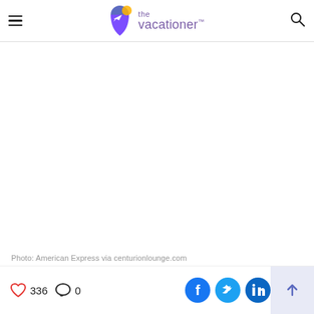the vacationer™ — navigation header with hamburger menu and search icon
[Figure (logo): Pinterest red circle button with white P logo]
Photo: American Express via centurionlounge.com
336 likes, 0 comments, share buttons: Facebook, Twitter, LinkedIn, scroll-to-top button